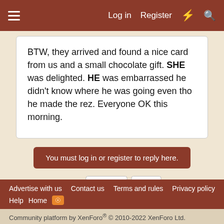Log in  Register
BTW, they arrived and found a nice card from us and a small chocolate gift. SHE was delighted. HE was embarrassed he didn't know where he was going even tho he made the rez. Everyone OK this morning.
You must log in or register to reply here.
1 of 2  Next  ▶▶
Share:
< Guest Relations
Advertise with us  Contact us  Terms and rules  Privacy policy  Help  Home
Community platform by XenForo® © 2010-2022 XenForo Ltd.